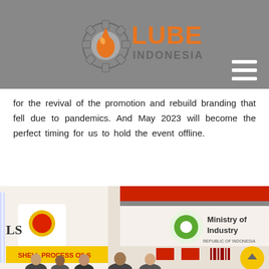[Figure (logo): Lube Indonesia logo — gear with oil drop, orange text LUBE, gray text INDONESIA, on gray background header]
for the revival of the promotion and rebuild branding that fell due to pandemics. And May 2023 will become the perfect timing for us to hold the event offline.
[Figure (photo): Exhibition hall photo showing Shell Process Oils booth, Ministry of Industry Republic of Indonesia banner, attendees in foreground]